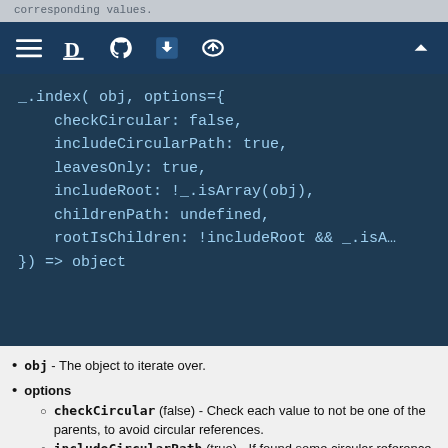corresponding values.
[Figure (screenshot): Navigation bar with hamburger menu, D icon, GitHub icon, download icon, upload/cloud icon, and chevron-up icon on dark blue background]
obj - The object to iterate over.
options
checkCircular (false) - Check each value to not be one of the parents, to avoid circular references.
includeCircularPath (true) - If found some circular reference - include a path to it into the result or skip it. Option ignored if checkCircular=false